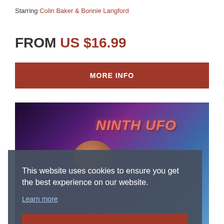Starring Colin Baker & Bonnie Langford
FROM US $16.99
MORE INFO
[Figure (photo): Space background with planet and 'NINTH UFO' text in red/pink]
This website uses cookies to ensure you get the best experience on our website.
Learn more
Got it!